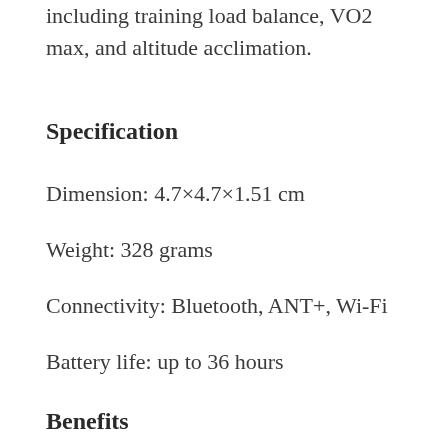including training load balance, VO2 max, and altitude acclimation.
Specification
Dimension: 4.7×4.7×1.51 cm
Weight: 328 grams
Connectivity: Bluetooth, ANT+, Wi-Fi
Battery life: up to 36 hours
Benefits